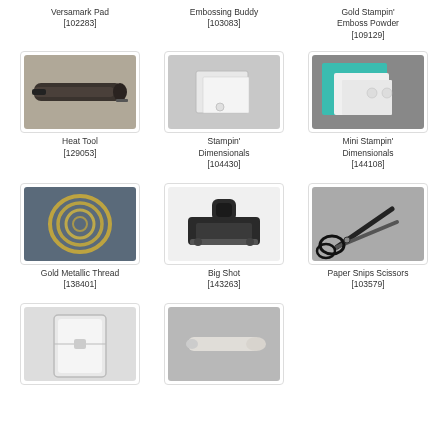Versamark Pad [102283]
Embossing Buddy [103083]
Gold Stampin' Emboss Powder [109129]
[Figure (photo): Heat Tool product photo]
Heat Tool [129053]
[Figure (photo): Stampin' Dimensionals product photo]
Stampin' Dimensionals [104430]
[Figure (photo): Mini Stampin' Dimensionals product photo]
Mini Stampin' Dimensionals [144108]
[Figure (photo): Gold Metallic Thread product photo]
Gold Metallic Thread [138401]
[Figure (photo): Big Shot product photo]
Big Shot [143263]
[Figure (photo): Paper Snips Scissors product photo]
Paper Snips Scissors [103579]
[Figure (photo): Partial product photo bottom left]
[Figure (photo): Partial product photo bottom center]